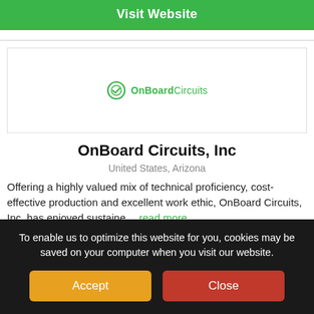Visit Website
[Figure (logo): OnBoard Circuits logo: green circular icon with checkmark and 'OnBoardCircuits' text in green]
OnBoard Circuits, Inc
United States, Arizona
Offering a highly valued mix of technical proficiency, cost-effective production and excellent work ethic, OnBoard Circuits, Inc. has enjoyed sustaine... read more
To enable us to optimize this website for you, cookies may be saved on your computer when you visit our website.
Accept
Close